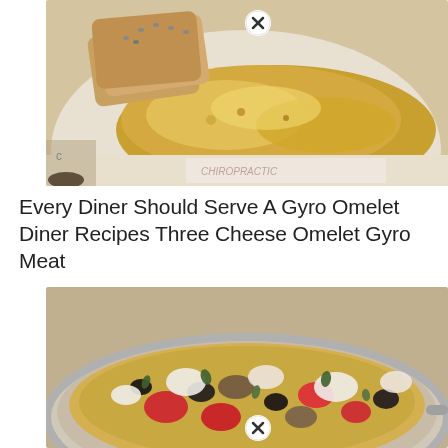[Figure (photo): A white plate with a gyro omelet (thin crispy egg patty) and toast slices, on a table with papers visible underneath]
Every Diner Should Serve A Gyro Omelet Diner Recipes Three Cheese Omelet Gyro Meat
[Figure (photo): A pan or skillet filled with a Mediterranean-style frittata or baked eggs dish with tomatoes, olives, mushrooms, cheese and greens]